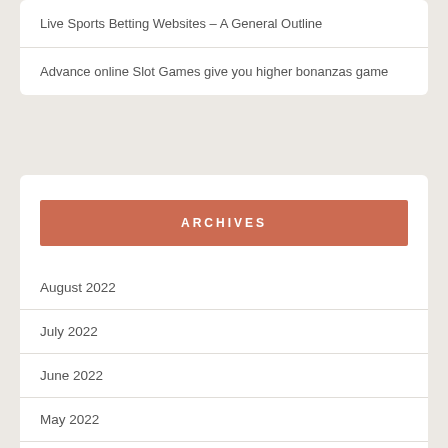Live Sports Betting Websites – A General Outline
Advance online Slot Games give you higher bonanzas game
ARCHIVES
August 2022
July 2022
June 2022
May 2022
April 2022